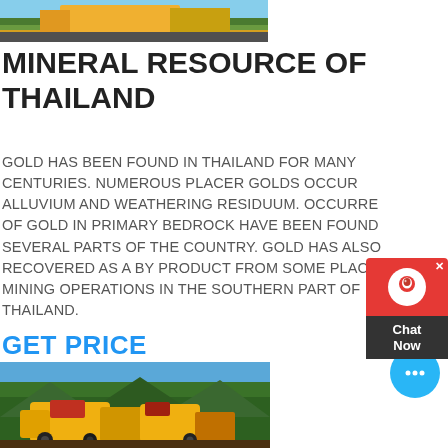[Figure (photo): Top partial photo of mining equipment with yellow machinery on green grass background]
MINERAL RESOURCE OF THAILAND
GOLD HAS BEEN FOUND IN THAILAND FOR MANY CENTURIES. NUMEROUS PLACER GOLDS OCCUR ALLUVIUM AND WEATHERING RESIDUUM. OCCURRENCE OF GOLD IN PRIMARY BEDROCK HAVE BEEN FOUND SEVERAL PARTS OF THE COUNTRY. GOLD HAS ALSO RECOVERED AS A BY PRODUCT FROM SOME PLACER TIN MINING OPERATIONS IN THE SOUTHERN PART OF THAILAND.
GET PRICE
[Figure (photo): Photo of large yellow mining processing equipment against mountain and blue sky background]